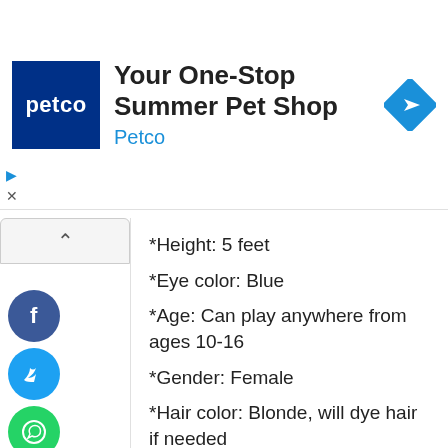[Figure (screenshot): Petco advertisement banner with logo, title 'Your One-Stop Summer Pet Shop', subtitle 'Petco', and a blue navigation/direction icon]
*Height: 5 feet
*Eye color: Blue
*Age: Can play anywhere from ages 10-16
*Gender: Female
*Hair color: Blonde, will dye hair if needed
*Skin tone: Pale
I have ton of acting experience, I'm really easy to work with, and can play so many different parts. I act every week, with my theater team and my job. I'm so passionate